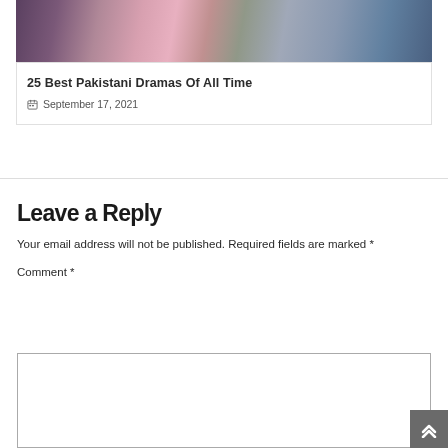[Figure (photo): Promotional image showing cast of Pakistani dramas]
25 Best Pakistani Dramas Of All Time
September 17, 2021
Leave a Reply
Your email address will not be published. Required fields are marked *
Comment *